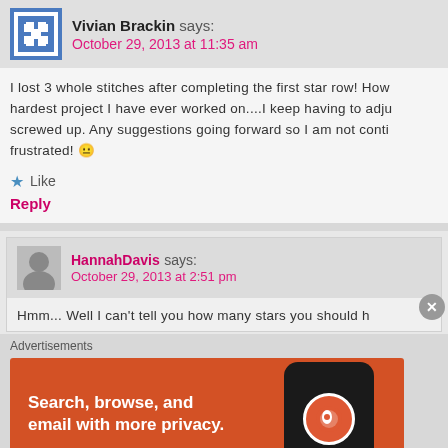Vivian Brackin says: October 29, 2013 at 11:35 am
I lost 3 whole stitches after completing the first star row! How hardest project I have ever worked on....I keep having to adju screwed up. Any suggestions going forward so I am not conti frustrated! 😐
★ Like
Reply
HannahDavis says: October 29, 2013 at 2:51 pm
Hmm... Well I can't tell you how many stars you should h
Advertisements
[Figure (infographic): DuckDuckGo advertisement banner: orange background with phone graphic showing DuckDuckGo logo. Text: Search, browse, and email with more privacy. All in One Free App]